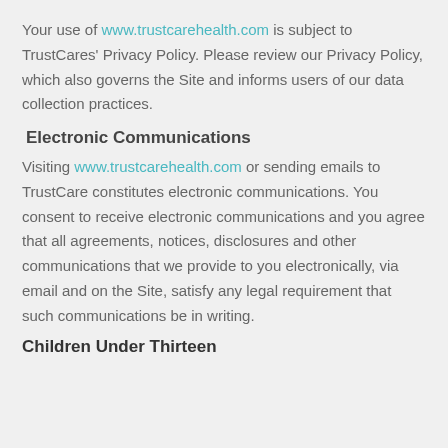Your use of www.trustcarehealth.com is subject to TrustCares' Privacy Policy. Please review our Privacy Policy, which also governs the Site and informs users of our data collection practices.
Electronic Communications
Visiting www.trustcarehealth.com or sending emails to TrustCare constitutes electronic communications. You consent to receive electronic communications and you agree that all agreements, notices, disclosures and other communications that we provide to you electronically, via email and on the Site, satisfy any legal requirement that such communications be in writing.
Children Under Thirteen